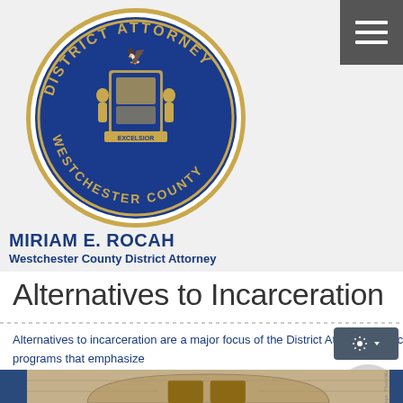[Figure (logo): Circular seal of the District Attorney Westchester County with blue background and gold border, featuring New York state coat of arms]
MIRIAM E. ROCAH
Westchester County District Attorney
Alternatives to Incarceration
Alternatives to incarceration are a major focus of the District Attorney's Office, in particular, programs that emphasize
[Figure (photo): Interior hallway with arched brick ceiling and wooden double doors, flanked by blue panels]
drug